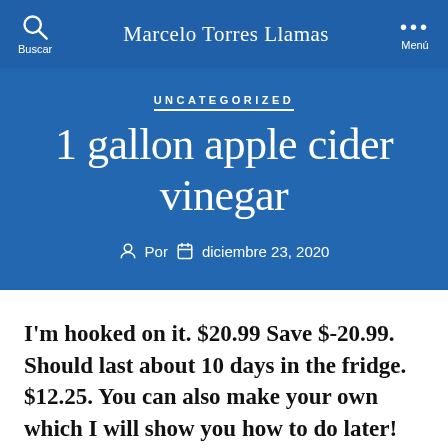Marcelo Torres Llamas
UNCATEGORIZED
1 gallon apple cider vinegar
Por   diciembre 23, 2020
I'm hooked on it. $20.99 Save $-20.99. Should last about 10 days in the fridge. $12.25. You can also make your own which I will show you how to do later! Substitute it for balsamic vinegar to make an irresistible salad dressing. In one study, one or two tablespoons (15 or 30 ml) of apple cider